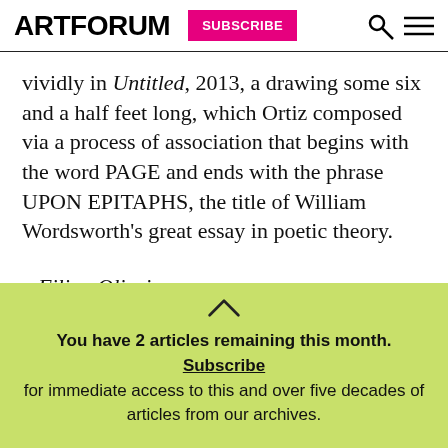ARTFORUM  SUBSCRIBE
vividly in Untitled, 2013, a drawing some six and a half feet long, which Ortiz composed via a process of association that begins with the word PAGE and ends with the phrase UPON EPITAPHS, the title of William Wordsworth's great essay in poetic theory.
—Filipa Oliveira
You have 2 articles remaining this month. Subscribe for immediate access to this and over five decades of articles from our archives.